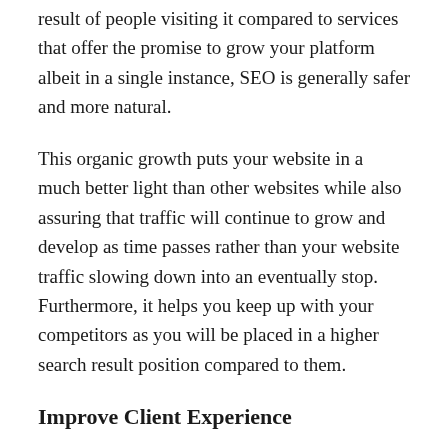result of people visiting it compared to services that offer the promise to grow your platform albeit in a single instance, SEO is generally safer and more natural.
This organic growth puts your website in a much better light than other websites while also assuring that traffic will continue to grow and develop as time passes rather than your website traffic slowing down into an eventually stop. Furthermore, it helps you keep up with your competitors as you will be placed in a higher search result position compared to them.
Improve Client Experience